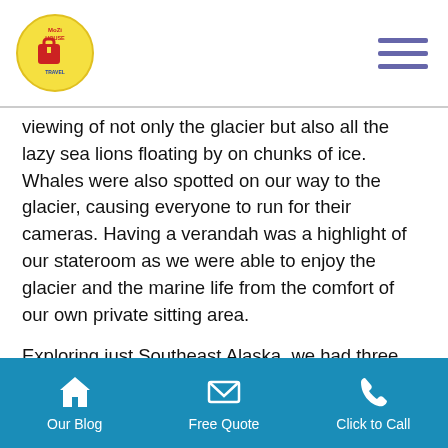MoZi House Travel logo and navigation
viewing of not only the glacier but also all the lazy sea lions floating by on chunks of ice. Whales were also spotted on our way to the glacier, causing everyone to run for their cameras. Having a verandah was a highlight of our stateroom as we were able to enjoy the glacier and the marine life from the comfort of our own private sitting area.
Exploring just Southeast Alaska, we had three ports of call to look forward to:
Skagway – a gold rush town now full of shops and small eateries and a great place to catch the salmon spawning. Hike to a lake
Our Blog   Free Quote   Click to Call